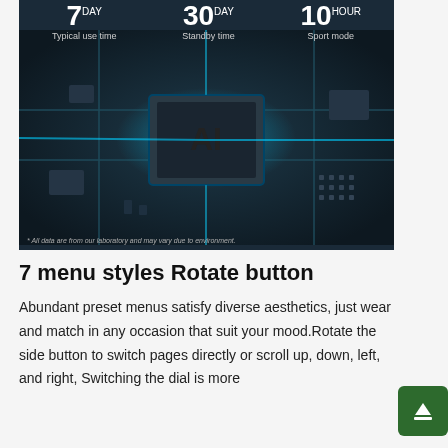[Figure (photo): Dark-themed product image showing an AI chip on a circuit board with glowing blue lights, overlaid with battery life stats: 7 DAY Typical use time, 30 DAY Standby time, 10 HOUR Sport mode. Disclaimer: * All data are from our laboratory and may vary due to environment.]
7 menu styles Rotate button
Abundant preset menus satisfy diverse aesthetics, just wear and match in any occasion that suit your mood.Rotate the side button to switch pages directly or scroll up, down, left, and right, Switching the dial is more